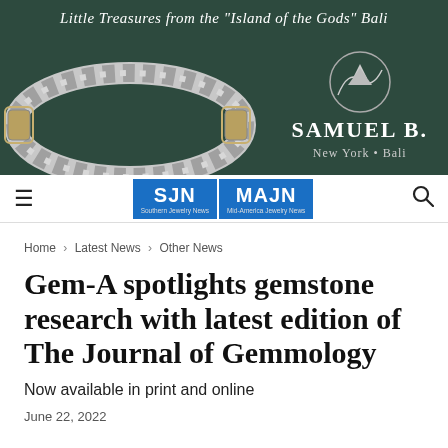[Figure (illustration): Advertisement banner for Samuel B. jewelry brand. Dark green background with a silver and gold twisted cuff bracelet on the left. Script text reads 'Little Treasures from the "Island of the Gods" Bali'. On the right: a circular mountain logo above bold white text 'SAMUEL B.' and subtitle 'New York • Bali'.]
SJN | MAJN (Southern Jewelry News | Mid-America Jewelry News) navigation bar with hamburger menu on left and search icon on right
Home > Latest News > Other News
Gem-A spotlights gemstone research with latest edition of The Journal of Gemmology
Now available in print and online
June 22, 2022